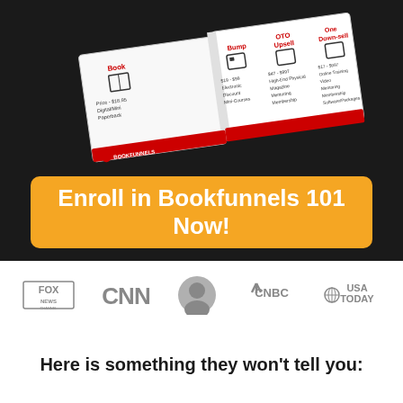[Figure (illustration): Open book graphic with sections showing Bookfunnels course structure including Book, Bump, OTO Upsell, and One Down-sell options with prices listed on dark background]
[Figure (other): Orange call-to-action button reading 'Enroll in Bookfunnels 101 Now!' on dark background]
[Figure (other): Media logos row: Fox News, CNN, person photo, CNBC, USA TODAY in grayscale on white background]
Here is something they won't tell you: